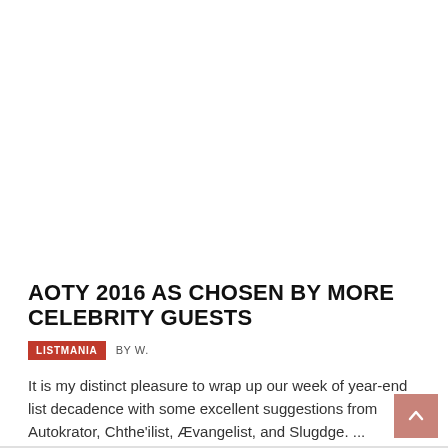AOTY 2016 AS CHOSEN BY MORE CELEBRITY GUESTS
LISTMANIA  BY W.
It is my distinct pleasure to wrap up our week of year-end list decadence with some excellent suggestions from Autokrator, Chthe'ilist, Ævangelist, and Slugdge. ...
READ MORE